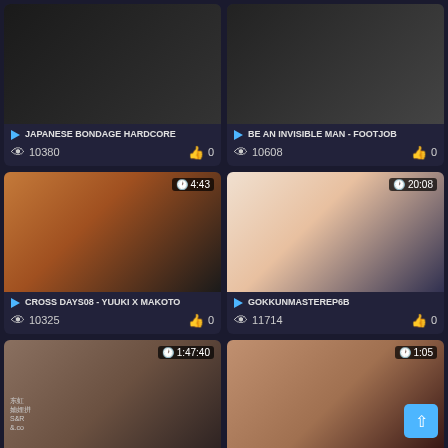[Figure (screenshot): Video thumbnail grid showing adult video listings with titles, view counts, and like counts]
JAPANESE BONDAGE HARDCORE — 👁 10380 👍 0
BE AN INVISIBLE MAN - FOOTJOB — 👁 10608 👍 0
CROSS DAYS08 - YUUKI X MAKOTO — 4:43 — 👁 10325 👍 0
GOKKUNMASTEREP6B — 20:08 — 👁 11714 👍 0
??? ???? ?? — 1:47:40 — 👁 11263 👍 86
HOT WET PUSSY FUCKED BY MY — 1:05 — 👁 10148